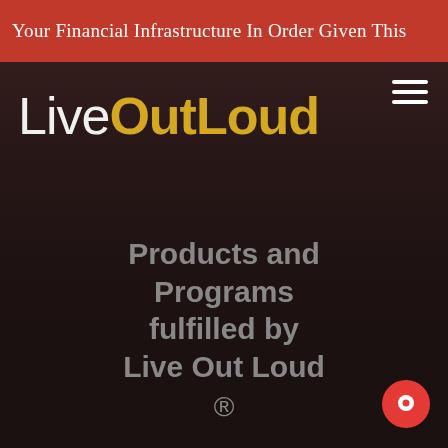Your Financial Infrastructure In Order Given This
[Figure (logo): LiveOutLoud logo in white and gold text on dark background]
Products and Programs fulfilled by Live Out Loud ®